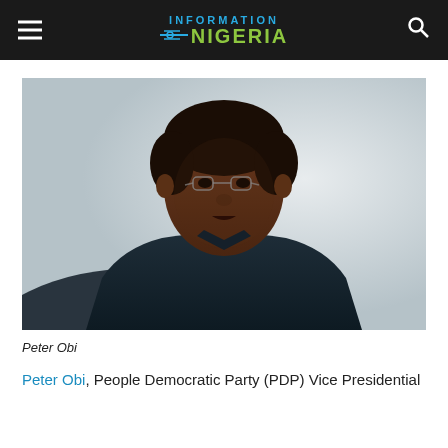INFORMATION NIGERIA
[Figure (photo): Portrait photo of Peter Obi, a man wearing glasses and a dark outfit, photographed against a light background]
Peter Obi
Peter Obi, People Democratic Party (PDP) Vice Presidential